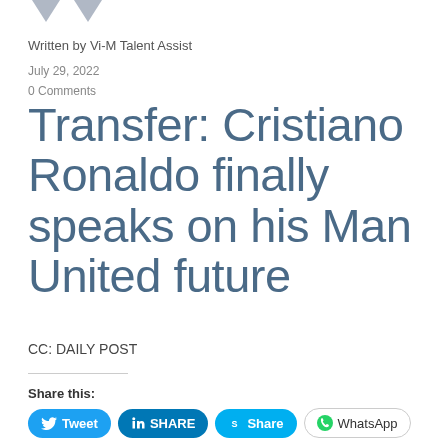[Figure (logo): ]
Written by Vi-M Talent Assist
July 29, 2022
0 Comments
Transfer: Cristiano Ronaldo finally speaks on his Man United future
CC: DAILY POST
Share this:
Tweet  SHARE  Share  WhatsApp